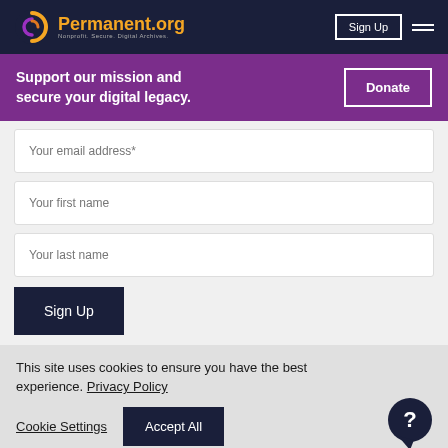Permanent.org — Nonprofit. Secure. Digital Archives.
Support our mission and secure your digital legacy.
Your email address*
Your first name
Your last name
Sign Up
This site uses cookies to ensure you have the best experience. Privacy Policy
Cookie Settings
Accept All